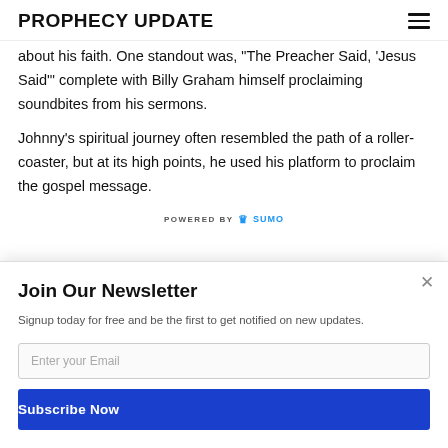PROPHECY UPDATE
about his faith. One standout was, "The Preacher Said, 'Jesus Said'" complete with Billy Graham himself proclaiming soundbites from his sermons.
Johnny's spiritual journey often resembled the path of a roller-coaster, but at its high points, he used his platform to proclaim the gospel message.
POWERED BY SUMO
Join Our Newsletter
Signup today for free and be the first to get notified on new updates.
Enter your Email
Subscribe Now